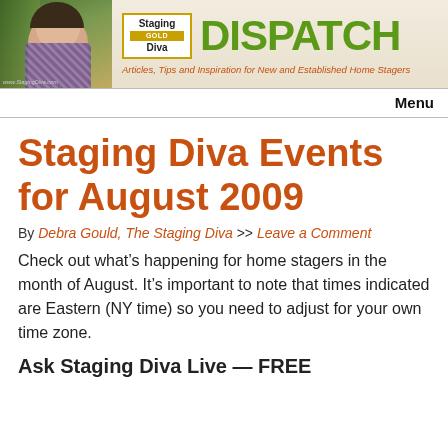[Figure (logo): Staging Diva Dispatch banner with woman photo, Staging Diva logo box, and DISPATCH text in green. Tagline: Articles, Tips and Inspiration for New and Established Home Stagers]
Menu
Staging Diva Events for August 2009
By Debra Gould, The Staging Diva >> Leave a Comment
Check out what’s happening for home stagers in the month of August. It’s important to note that times indicated are Eastern (NY time) so you need to adjust for your own time zone.
Ask Staging Diva Live — FREE